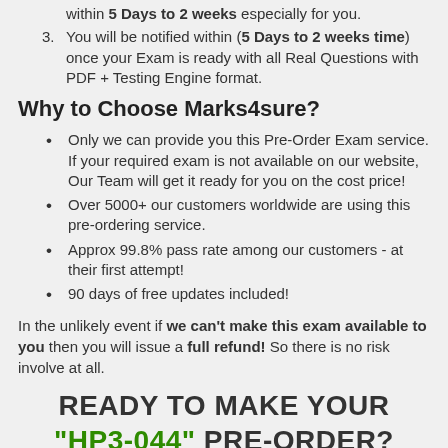within 5 Days to 2 weeks especially for you.
You will be notified within (5 Days to 2 weeks time) once your Exam is ready with all Real Questions with PDF + Testing Engine format.
Why to Choose Marks4sure?
Only we can provide you this Pre-Order Exam service. If your required exam is not available on our website, Our Team will get it ready for you on the cost price!
Over 5000+ our customers worldwide are using this pre-ordering service.
Approx 99.8% pass rate among our customers - at their first attempt!
90 days of free updates included!
In the unlikely event if we can't make this exam available to you then you will issue a full refund! So there is no risk involve at all.
READY TO MAKE YOUR "HP3-044" PRE-ORDER?